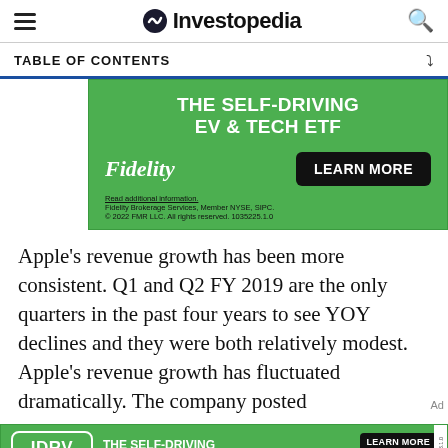Investopedia
TABLE OF CONTENTS
[Figure (other): Fidelity advertisement: THE SELF-DRIVING EV & TECH ETF with Fidelity logo and LEARN MORE button on green background]
Apple's revenue growth has been more consistent. Q1 and Q2 FY 2019 are the only quarters in the past four years to see YOY declines and they were both relatively modest. Apple's revenue growth has fluctuated dramatically. The company posted
[Figure (other): Fidelity IDRV advertisement strip: THE SELF-DRIVING EV & TECH ETF with LEARN MORE button on green background]